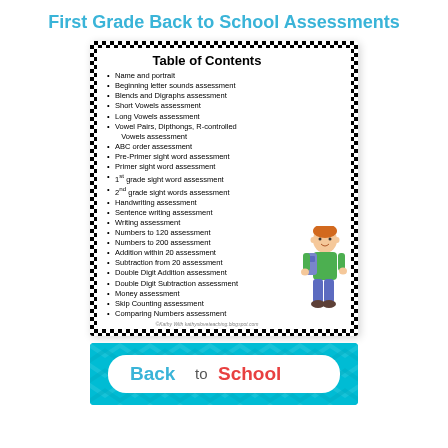First Grade Back to School Assessments
[Figure (illustration): Table of Contents card with black and white checkered border listing assessment topics, with a cartoon boy with backpack illustration in the lower right corner. Topics include Name and portrait, Beginning letter sounds assessment, Blends and Digraphs assessment, Short Vowels assessment, Long Vowels assessment, Vowel Pairs, Dipthongs, R-controlled Vowels assessment, ABC order assessment, Pre-Primer sight word assessment, Primer sight word assessment, 1st grade sight word assessment, 2nd grade sight words assessment, Handwriting assessment, Sentence writing assessment, Writing assessment, Numbers to 120 assessment, Numbers to 200 assessment, Addition within 20 assessment, Subtraction from 20 assessment, Double Digit Addition assessment, Double Digit Subtraction assessment, Money assessment, Skip Counting assessment, Comparing Numbers assessment]
[Figure (illustration): Back to School banner with cyan chevron background and white cloud-shaped frame containing colorful text 'Back to School']